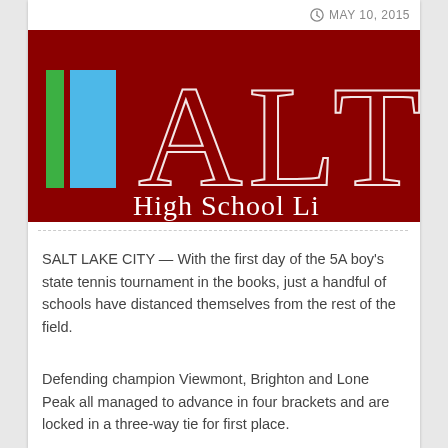MAY 10, 2015
[Figure (logo): ALT High School Li logo on dark red background with green and blue vertical bars on the left side]
SALT LAKE CITY — With the first day of the 5A boy's state tennis tournament in the books, just a handful of schools have distanced themselves from the rest of the field.
Defending champion Viewmont, Brighton and Lone Peak all managed to advance in four brackets and are locked in a three-way tie for first place.
Viewmont senior John Tullis defeated...